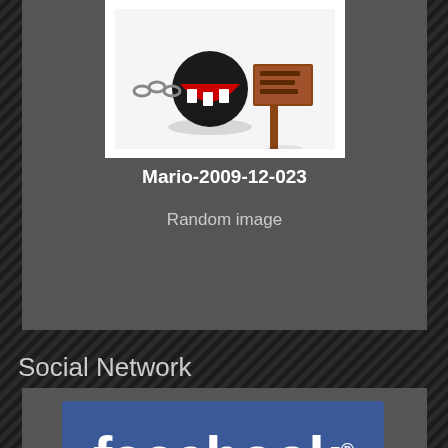[Figure (illustration): Chain Chomp (Mario character) 3D render next to a wooden warning sign on white background]
Mario-2009-12-023
Random image
Social Network
[Figure (logo): Facebook logo — white bold lowercase text 'facebook.' on blue rounded rectangle background]
Sites We Like
| Anime | Games |
| --- | --- |
| AnimeNewsNetwork.com | gamespot.com |